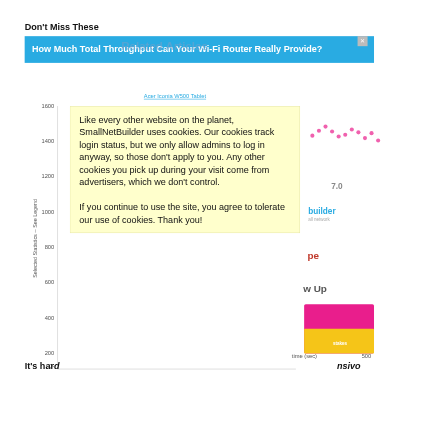Don't Miss These
[Figure (screenshot): Blue banner with article title 'How Much Total Throughput Can Your Wi-Fi Router Really Provide?' overlaid with semi-transparent 'Related Articles' text]
[Figure (screenshot): Partial chart area showing y-axis from 0 to 1600 with label 'Selected Statistics -- See Legend', and partial content from website smallnetbuilder.com including 'Acer Iconia W500 Tablet' link, chart with pink dots, logos, and sidebar text]
Like every other website on the planet, SmallNetBuilder uses cookies. Our cookies track login status, but we only allow admins to log in anyway, so those don't apply to you. Any other cookies you pick up during your visit come from advertisers, which we don't control.
If you continue to use the site, you agree to tolerate our use of cookies. Thank you!
It's hard
nsivo